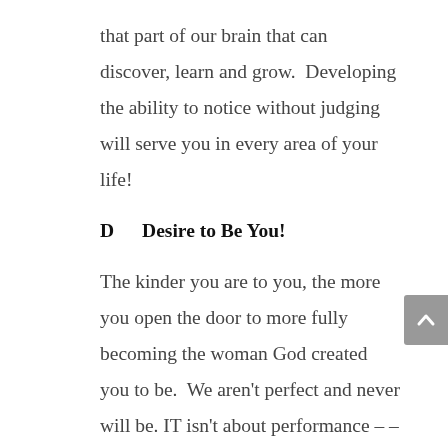that part of our brain that can discover, learn and grow.  Developing the ability to notice without judging will serve you in every area of your life!
D        Desire to Be You!
The kinder you are to you, the more you open the door to more fully becoming the woman God created you to be.  We aren't perfect and never will be. IT isn't about performance – – it is all about the process of